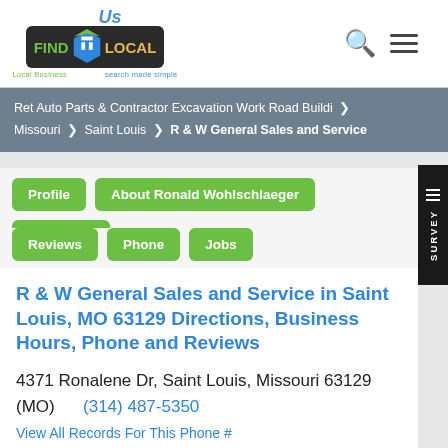[Figure (logo): FindUsLocal logo with 'Us' in blue italic above, green 'FIND', building icon, yellow 'LOCAL' on dark background. Tagline: 'Local Business search made simple']
Ret Auto Parts & Contractor Excavation Work Road Buildi > Missouri > Saint Louis > R & W General Sales and Service
Profile
About Ronald Wohlschlaeger
Directions
Reviews
Phone
Jobs
R & W General Sales and Service in Saint Louis, MO 63129 Directions, Business Hours, Phone and Reviews
4371 Ronalene Dr, Saint Louis, Missouri 63129 (MO)   (314) 487-5350
View All Records For This Phone #